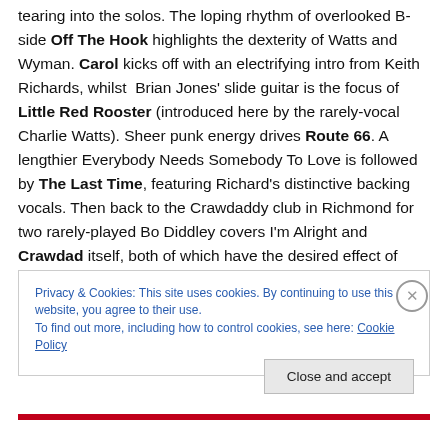tearing into the solos. The loping rhythm of overlooked B-side Off The Hook highlights the dexterity of Watts and Wyman. Carol kicks off with an electrifying intro from Keith Richards, whilst Brian Jones' slide guitar is the focus of Little Red Rooster (introduced here by the rarely-vocal Charlie Watts). Sheer punk energy drives Route 66. A lengthier Everybody Needs Somebody To Love is followed by The Last Time, featuring Richard's distinctive backing vocals. Then back to the Crawdaddy club in Richmond for two rarely-played Bo Diddley covers I'm Alright and Crawdad itself, both of which have the desired effect of
Privacy & Cookies: This site uses cookies. By continuing to use this website, you agree to their use. To find out more, including how to control cookies, see here: Cookie Policy